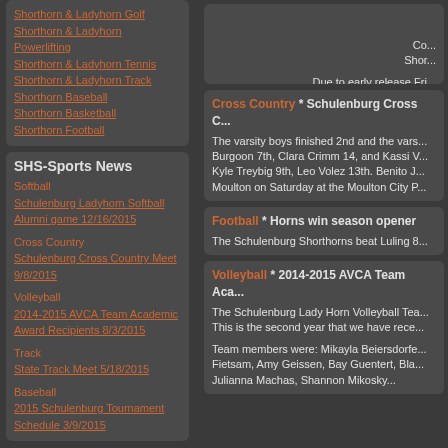Shorthorn & Ladyhorn Golf
Shorthorn & Ladyhorn Powerlifting
Shorthorn & Ladyhorn Tennis
Shorthorn & Ladyhorn Track
Shorthorn Baseball
Shorthorn Basketball
Shorthorn Football
Due to early release Fri... See ya at ...
SHS-Sports News
Softball
Schulenburg Ladyhorn Softball Alumni game 12/16/2015
Cross Country
Schulenburg Cross Country Meet 9/8/2015
Volleyball
2014-2015 AVCA Team Academic Award Recipients 8/3/2015
Track
State Track Meet 5/18/2015
Baseball
2015 Schulenburg Tournament Schedule 3/9/2015
Cross Country * Schulenburg Cross C...
The varsity boys finished 2nd and the vars... Burgoon 7th, Clara Crimm 14, and Kassi V... Kyle Treybig 9th, Leo Volez 13th. Benito J... Moulton on Saturday at the Moulton City P...
Football * Horns win season opener
The Schulenburg Shorthorns beat Luling 8...
Volleyball * 2014-2015 AVCA Team Aca...
The Schulenburg Lady Horn Volleyball Tea... This is the second year that we have rece...
Team members were: Mikayla Beiersdorfe... Fietsam, Amy Geissen, Bay Guentert, Bla... Julianna Machas, Shannon Mikosky...